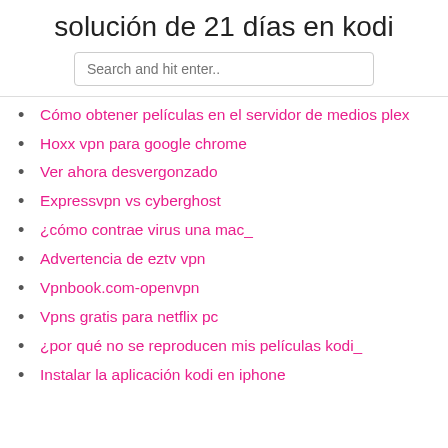solución de 21 días en kodi
Search and hit enter..
Cómo obtener películas en el servidor de medios plex
Hoxx vpn para google chrome
Ver ahora desvergonzado
Expressvpn vs cyberghost
¿cómo contrae virus una mac_
Advertencia de eztv vpn
Vpnbook.com-openvpn
Vpns gratis para netflix pc
¿por qué no se reproducen mis películas kodi_
Instalar la aplicación kodi en iphone